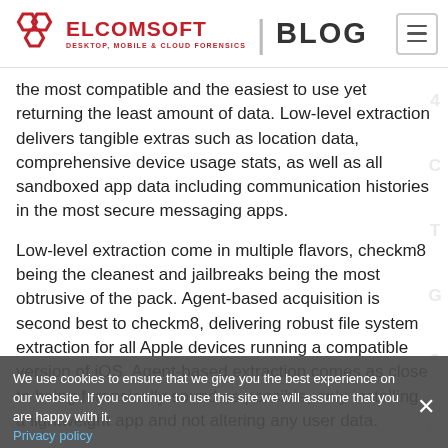ELCOMSOFT | BLOG — DESKTOP, MOBILE & CLOUD FORENSICS
the most compatible and the easiest to use yet returning the least amount of data. Low-level extraction delivers tangible extras such as location data, comprehensive device usage stats, as well as all sandboxed app data including communication histories in the most secure messaging apps.
Low-level extraction come in multiple flavors, checkm8 being the cleanest and jailbreaks being the most obtrusive of the pack. Agent-based acquisition is second best to checkm8, delivering robust file system extraction for all Apple devices running a compatible version of iOS. Agent-based extraction comes as close to being forensically sound as possible, only installing a lightweight app and not altering any user data.
We use cookies to ensure that we give you the best experience on our website. If you continue to use this site we will assume that you are happy with it. Privacy policy